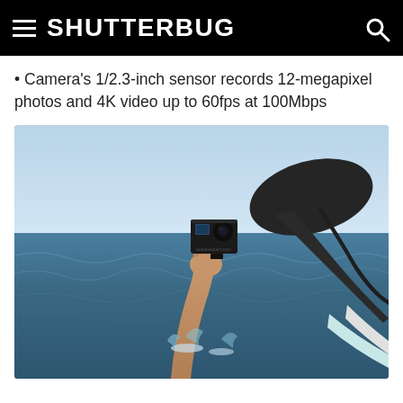SHUTTERBUG
Camera's 1/2.3-inch sensor records 12-megapixel photos and 4K video up to 60fps at 100Mbps
[Figure (photo): A person in a black wetsuit lying on a surfboard in the ocean, holding up a small DJI action camera (black, with dual screens and a wide-angle lens) above the water with one hand. The sky is light blue and the water is blue-green with small waves.]